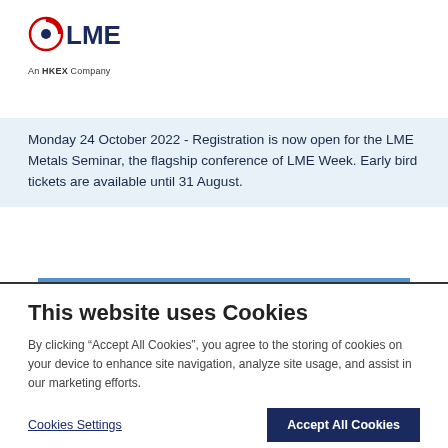[Figure (logo): LME logo with red circle icon and 'An HKEX Company' tagline]
Monday 24 October 2022 - Registration is now open for the LME Metals Seminar, the flagship conference of LME Week. Early bird tickets are available until 31 August.
[Figure (photo): Wind turbine against a blue sky with clouds]
This website uses Cookies
By clicking “Accept All Cookies”, you agree to the storing of cookies on your device to enhance site navigation, analyze site usage, and assist in our marketing efforts.
Cookies Settings | Accept All Cookies